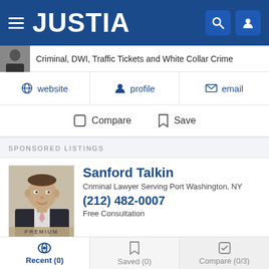JUSTIA
Criminal, DWI, Traffic Tickets and White Collar Crime
website  profile  email
Compare  Save
SPONSORED LISTINGS
Sanford Talkin
Criminal Lawyer Serving Port Washington, NY
(212) 482-0007
Free Consultation
New York Criminal Law Attorney with 28 years of experience
Recent (0)  Saved (0)  Compare (0/3)